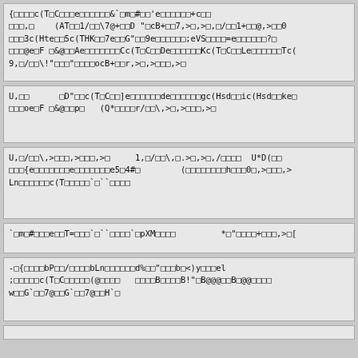{□□□□c(T□C□□□e□□□□□□&`□m□#□□'e□□□□□□+c□□
□□□,□    (AT□□1/□□\7@+□□D "□cB+□□7,>□,>□,□/□□1+□□@,>□□0
□□□3c(Hte□□5c(THK□□7e□□G"□□9e□□□□□□;eVS□□□□=e□□□□□□?□
□□□@e□F □&@□□Ae□□□□□□□Cc(T□C□□De□□□□□□Kc(T□C□□Le□□□□□□Tc(
9,□/□□\!"□□□"□□□□ocB+□□r,>□,>□□□,>□
U,□□      □D"□□c(T□C□□]e□□□□□□de□□□□□□gc(Hsd□□ic(Hsd□□ke□
□□□oe□F □&@□□p□   (Q*□□□□r/□□\,>□,>□□□,>□
U,□/□□\,>□□□,>□□□,>□     1,□/□□\,□.>□,>□,/□□□□  U*D(□□
□□□{e□□□□□□□e□□□□□□□e5□4#□        (□□□□□□□□h□□□0□,>□□□,>
Ln□□□□□□c(T□□□□□`□``□□□□
`□m□#□□□e□□T=□□□`□``□□□□`□pXM□□□□         *□"□□□□+□□□,>□[
-□{□□□□bP□□/□□□□bLn□□□□□□d%□□"□□□b□<)y□□□el
;□□□□□c(T□C□□□□□(@□□□□   □□□□B□□□□B!"□B@@@□□B□@@□□□□
w□□G`□□7@□□G`□□7@□□H`□